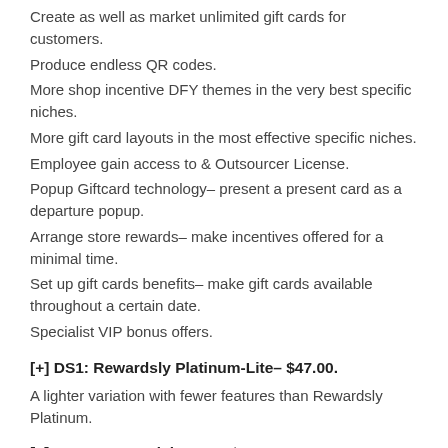Create as well as market unlimited gift cards for customers.
Produce endless QR codes.
More shop incentive DFY themes in the very best specific niches.
More gift card layouts in the most effective specific niches.
Employee gain access to & Outsourcer License.
Popup Giftcard technology– present a present card as a departure popup.
Arrange store rewards– make incentives offered for a minimal time.
Set up gift cards benefits– make gift cards available throughout a certain date.
Specialist VIP bonus offers.
[+] DS1: Rewardsly Platinum-Lite– $47.00.
A lighter variation with fewer features than Rewardsly Platinum.
[+] OTO2: Rewardsly DFY– $197.00
The group will certainly aid guarantee you have success with your loyalty agency with DFY products as well as one-one-one.